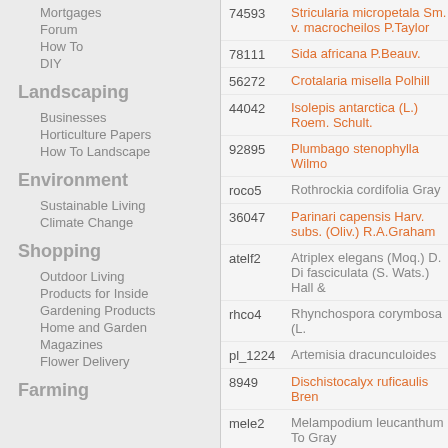Mortgages
Forum
How To
DIY
Landscaping
Businesses
Horticulture Papers
How To Landscape
Environment
Sustainable Living
Climate Change
Shopping
Outdoor Living
Products for Inside
Gardening Products
Home and Garden Magazines
Flower Delivery
Farming
| ID | Name |
| --- | --- |
| 74593 | Stricularia micropetala Sm. v. macrocheilos P.Taylor |
| 78111 | Sida africana P.Beauv. |
| 56272 | Crotalaria misella Polhill |
| 44042 | Isolepis antarctica (L.) Roem. Schult. |
| 92895 | Plumbago stenophylla Wilmo |
| roco5 | Rothrockia cordifolia Gray |
| 36047 | Parinari capensis Harv. subs. (Oliv.) R.A.Graham |
| atelf2 | Atriplex elegans (Moq.) D. Di fasciculata (S. Wats.) Hall & |
| rhco4 | Rhynchospora corymbosa (L. |
| pl_1224 | Artemisia dracunculoides |
| 8949 | Dischistocalyx ruficaulis Bren |
| mele2 | Melampodium leucanthum To Gray |
| pyse3 | Pyrrocoma sessiliflora Green |
| 42762 | Cyperus comosipes Mattf. & subsp. decolorans (K◆k.) Ly |